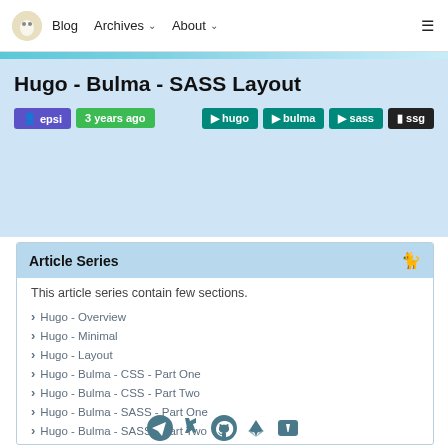Blog   Archives ∨   About ∨
Hugo - Bulma - SASS Layout
epsi   3 years ago   hugo   bulma   sass   ssg
Article Series
This article series contain few sections.
Hugo - Overview
Hugo - Minimal
Hugo - Layout
Hugo - Bulma - CSS - Part One
Hugo - Bulma - CSS - Part Two
Hugo - Bulma - SASS - Part One
Hugo - Bulma - SASS - Part Two
Social icons: Telegram, Deviant Art, GitHub, GitLab, Bitbucket